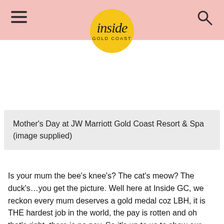inside GOLD COAST
Mother's Day at JW Marriott Gold Coast Resort & Spa (image supplied)
Is your mum the bee's knee's? The cat's meow? The duck's…you get the picture. Well here at Inside GC, we reckon every mum deserves a gold medal coz LBH, it is THE hardest job in the world, the pay is rotten and oh that's right, there is no pay. So it's up to us to show our mamas how much we love them, because that is infinitely more rewarding than anything money can buy.